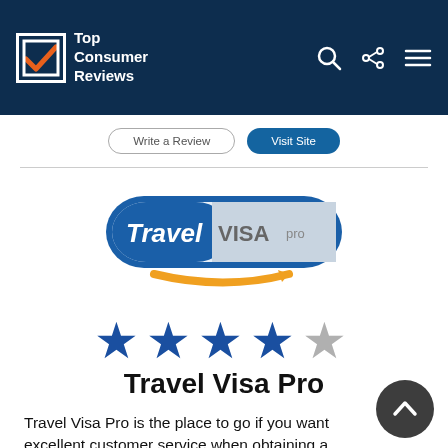Top Consumer Reviews
[Figure (logo): Travel Visa Pro logo — blue pill-shaped border containing 'Travel VISA pro' text with an orange arrow swoosh beneath]
[Figure (other): 4 out of 5 stars rating — four blue filled stars and one grey empty star]
Travel Visa Pro
Travel Visa Pro is the place to go if you want excellent customer service when obtaining a passport, visa, or other international documents